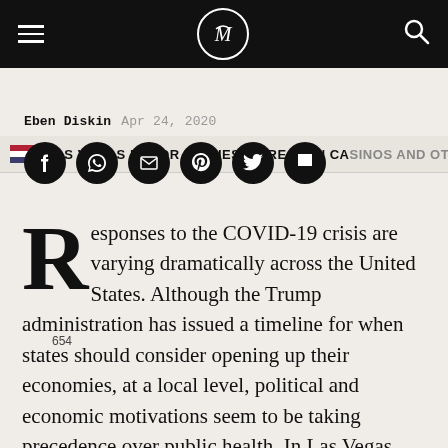Matador Network — navigation header with hamburger menu, logo, and search icon
LAS VEGAS MAYOR PUSHES TO REOPEN CA[SINOS AND OTH...]
Eben Diskin   Apr 24, 2020
[Figure (other): Social sharing buttons: Facebook, WhatsApp, Email, Pinterest, Twitter, Flipboard — circular black icons. Share count: 654]
Responses to the COVID-19 crisis are varying dramatically across the United States. Although the Trump administration has issued a timeline for when states should consider opening up their economies, at a local level, political and economic motivations seem to be taking precedence over public health. In Las Vegas, for example, Mayor Carolyn Goodman is advocating for the reopening of the city's casinos, despite the absence of a concrete